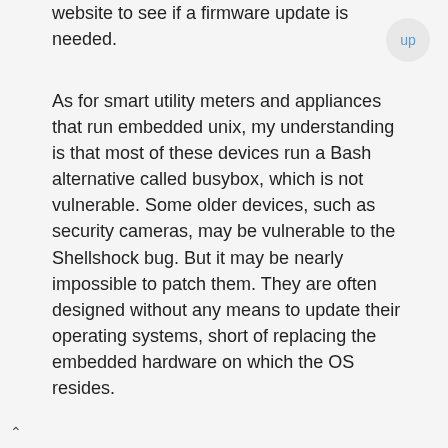website to see if a firmware update is needed.
As for smart utility meters and appliances that run embedded unix, my understanding is that most of these devices run a Bash alternative called busybox, which is not vulnerable. Some older devices, such as security cameras, may be vulnerable to the Shellshock bug. But it may be nearly impossible to patch them. They are often designed without any means to update their operating systems, short of replacing the embedded hardware on which the OS resides.
If there's a silver lining to this story, it's that Shellshock is more difficult to exploit than Heartbleed. It's not enough for the Bash software to exist on a device; it must be actively in use when an attacker strikes in